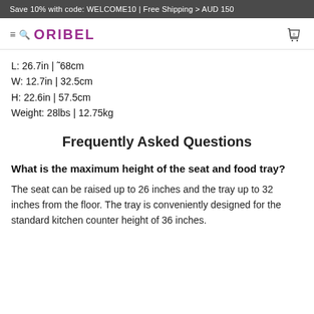Save 10% with code: WELCOME10 | Free Shipping > AUD 150
≡🔍 ORIBEL
L: 26.7in | ˜68cm
W: 12.7in | 32.5cm
H: 22.6in | 57.5cm
Weight: 28lbs | 12.75kg
Frequently Asked Questions
What is the maximum height of the seat and food tray?
The seat can be raised up to 26 inches and the tray up to 32 inches from the floor. The tray is conveniently designed for the standard kitchen counter height of 36 inches.